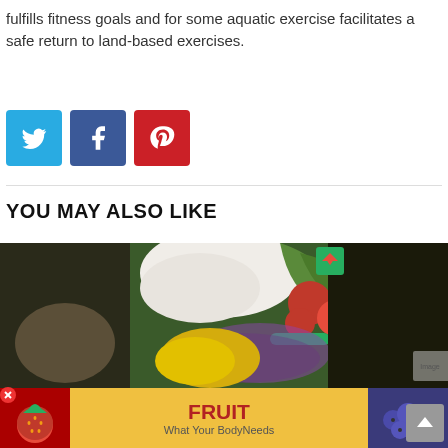fulfills fitness goals and for some aquatic exercise facilitates a safe return to land-based exercises.
[Figure (infographic): Social sharing buttons: Twitter (blue), Facebook (dark blue), Pinterest (red)]
YOU MAY ALSO LIKE
[Figure (photo): Photo of vegetables and fruits including cauliflower, tomatoes, kiwi, and lettuce with a small overlay image]
[Figure (infographic): Advertisement banner for Fruit - What Your Body Needs, with strawberry image on left and blueberry image on right]